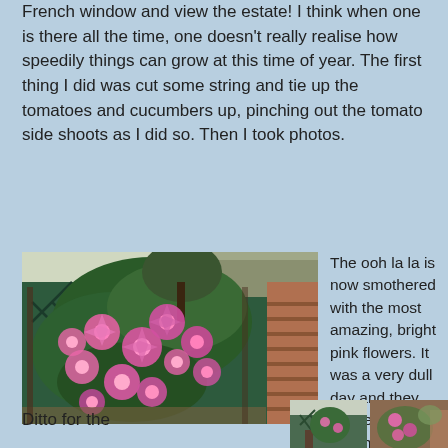French window and view the estate!  I think when one is there all the time, one doesn't really realise how speedily things can grow at this time of year.  The first thing I did was cut some string and tie up the tomatoes and cucumbers up, pinching out the tomato side shoots as I did so.  Then I took photos.
[Figure (photo): A climbing clematis plant covered in bright pink star-shaped flowers growing on a trellis against a garden fence and brick wall.]
The ooh la la is now smothered with the most amazing, bright pink flowers.  It was a very dull day and they shone.  In the sunshine they must be stunning.
Ditto for the
[Figure (photo): Two side-by-side garden photos at the bottom of the page, partially visible.]